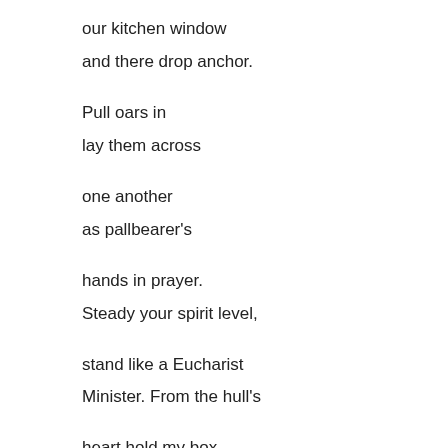our kitchen window
and there drop anchor.
Pull oars in
lay them across
one another
as pallbearer's
hands in prayer.
Steady your spirit level,
stand like a Eucharist
Minister. From the hull's
heart hold my box